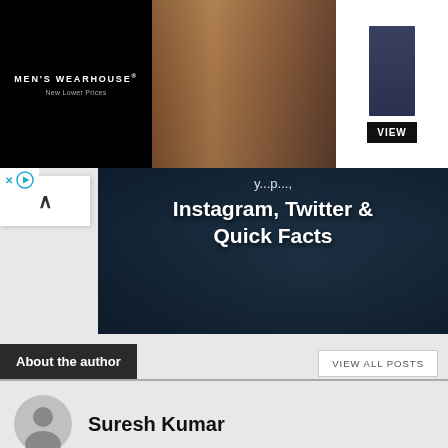[Figure (photo): Men's Wearhouse advertisement banner showing a couple in formal wear and a man in a blue suit with a VIEW button]
[Figure (photo): Dark toned hero image background with article title overlay]
Instagram, Twitter & Quick Facts
August 25, 2022
About the author
VIEW ALL POSTS
Suresh Kumar
Add Comment